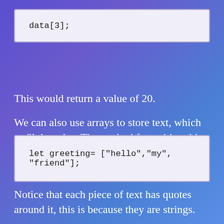data[3];
This would return a value of 20.
We can also use arrays to store text, which we'll do today. The method for writing this is:
let greeting= ["hello","my", "friend"];
Notice that each piece of text has quotes around it, this is because they are strings.